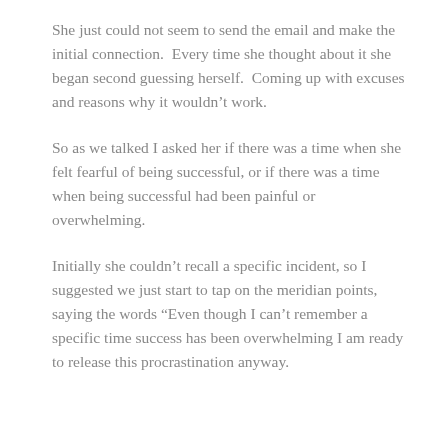She just could not seem to send the email and make the initial connection.  Every time she thought about it she began second guessing herself.  Coming up with excuses and reasons why it wouldn't work.
So as we talked I asked her if there was a time when she felt fearful of being successful, or if there was a time when being successful had been painful or overwhelming.
Initially she couldn't recall a specific incident, so I suggested we just start to tap on the meridian points, saying the words “Even though I can’t remember a specific time success has been overwhelming I am ready to release this procrastination anyway.